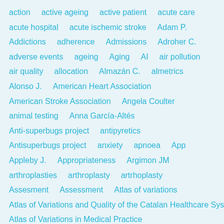action
active ageing
active patient
acute care
acute hospital
acute ischemic stroke
Adam P.
Addictions
adherence
Admissions
Adroher C.
adverse events
ageing
Aging
AI
air pollution
air quality
allocation
Almazán C.
almetrics
Alonso J.
American Heart Association
American Stroke Association
Angela Coulter
animal testing
Anna García-Altés
Anti-superbugs project
antipyretics
Antisuperbugs project
anxiety
apnoea
App
Appleby J.
Appropriateness
Argimon JM
arthroplasties
arthroplasty
artrhoplasty
Assesment
Assessment
Atlas of variations
Atlas of Variations and Quality of the Catalan Healthcare System
Atlas of Variations in Medical Practice
atlas of variations of the clinical practice
attitudes